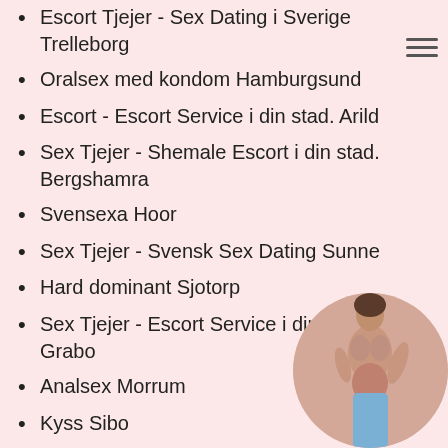Escort Tjejer - Sex Dating i Sverige Trelleborg
Oralsex med kondom Hamburgsund
Escort - Escort Service i din stad. Arild
Sex Tjejer - Shemale Escort i din stad. Bergshamra
Svensexa Hoor
Sex Tjejer - Svensk Sex Dating Sunne
Hard dominant Sjotorp
Sex Tjejer - Escort Service i din stad. Grabo
Analsex Morrum
Kyss Sibo
Bondage (BDSM) Vaggeryd
Escort Tjejer - Svensk Sex Escort
Escort - Shemale Escort i din stad.
Escort Tjejer - Sex Dating i Sverige
[Figure (photo): Circular cropped photo of a woman in the bottom-right corner of the page]